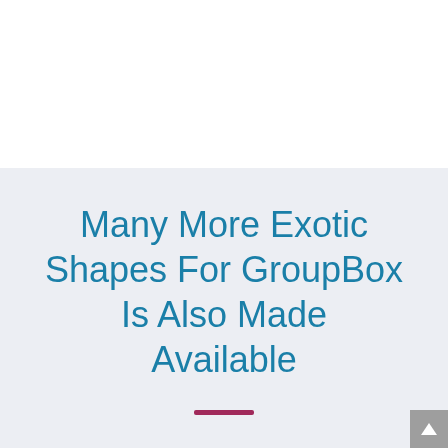Many More Exotic Shapes For GroupBox Is Also Made Available